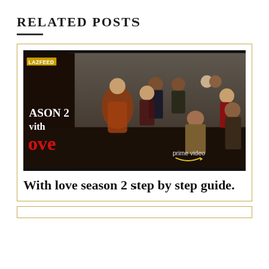RELATED POSTS
[Figure (photo): Promotional image for 'With Love Season 2' on Prime Video, showing a group of cast members posing together, with text overlay reading 'SEASON 2 With Love' and the Prime Video logo. A 'LAZFEED' badge is visible in the top left corner.]
With love season 2 step by step guide.